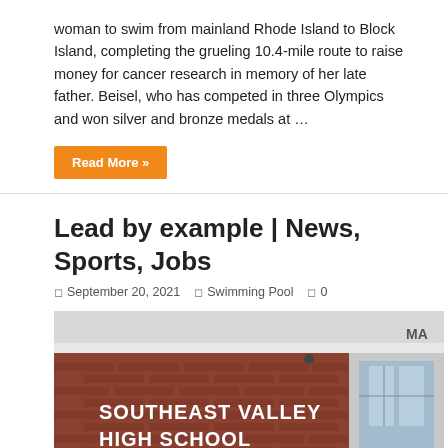woman to swim from mainland Rhode Island to Block Island, completing the grueling 10.4-mile route to raise money for cancer research in memory of her late father. Beisel, who has competed in three Olympics and won silver and bronze medals at …
Read More »
Lead by example | News, Sports, Jobs
September 20, 2021  Swimming Pool  0
[Figure (photo): A woman standing in front of Southeast Valley High School building with brick exterior. The school name is written in large white letters on the brick wall.]